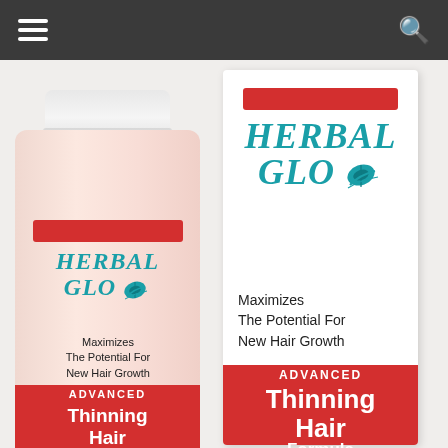[Figure (photo): Navigation bar with hamburger menu icon on the left and search icon on the right, dark gray background]
[Figure (photo): Product photo showing two Herbal Glo Advanced Thinning Hair Formula products side by side: a bottle on the left and a box on the right. Both feature teal/turquoise Herbal Glo logo with red accent bars. Text reads: Maximizes The Potential For New Hair Growth, ADVANCED Thinning Hair Formula.]